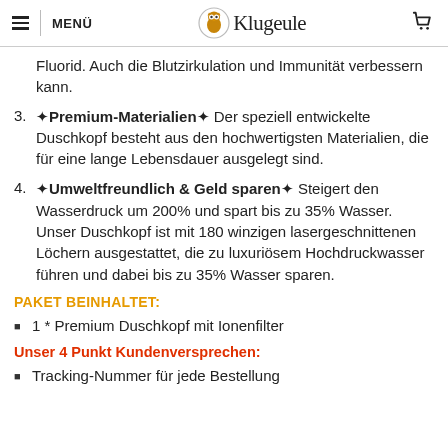MENÜ | Klugeule | Cart
Fluorid. Auch die Blutzirkulation und Immunität verbessern kann.
Premium-Materialien Der speziell entwickelte Duschkopf besteht aus den hochwertigsten Materialien, die für eine lange Lebensdauer ausgelegt sind.
Umweltfreundlich & Geld sparen Steigert den Wasserdruck um 200% und spart bis zu 35% Wasser. Unser Duschkopf ist mit 180 winzigen lasergeschnittenen Löchern ausgestattet, die zu luxuriösem Hochdruckwasser führen und dabei bis zu 35% Wasser sparen.
PAKET BEINHALTET:
1 * Premium Duschkopf mit Ionenfilter
Unser 4 Punkt Kundenversprechen:
Tracking-Nummer für jede Bestellung